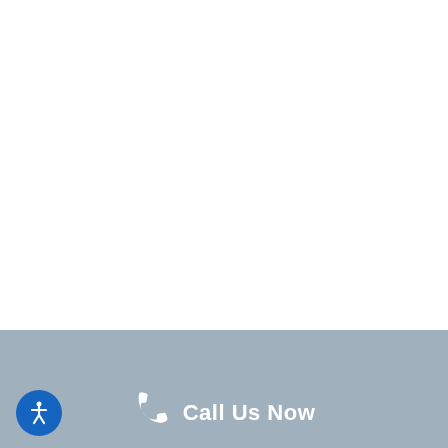[Figure (other): White blank area (upper portion of page)]
[Figure (other): Gray/blue-gray horizontal band]
Call Us Now
[Figure (other): Accessibility icon button (blue circle with white person/accessibility symbol)]